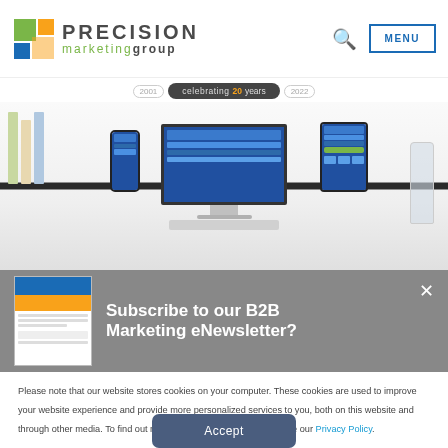[Figure (logo): Precision Marketing Group logo with colorful square icon and green/gray text]
celebrating 20 years 2001 2022
[Figure (photo): Desktop monitor, smartphone, and tablet displaying website designs on a white shelf background]
Subscribe to our B2B Marketing eNewsletter?
Please note that our website stores cookies on your computer. These cookies are used to improve your website experience and provide more personalized services to you, both on this website and through other media. To find out more about the cookies we use, see our Privacy Policy.
Accept